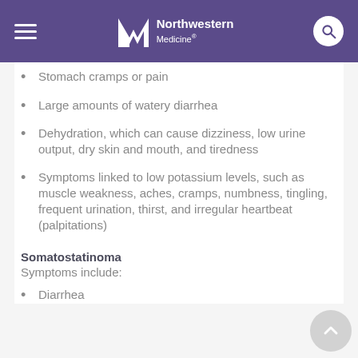Northwestern Medicine
Stomach cramps or pain
Large amounts of watery diarrhea
Dehydration, which can cause dizziness, low urine output, dry skin and mouth, and tiredness
Symptoms linked to low potassium levels, such as muscle weakness, aches, cramps, numbness, tingling, frequent urination, thirst, and irregular heartbeat (palpitations)
Somatostatinoma
Symptoms include:
Diarrhea